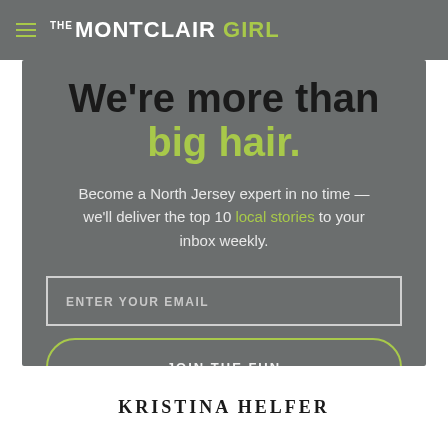THE MONTCLAIR GIRL
We're more than big hair.
Become a North Jersey expert in no time — we'll deliver the top 10 local stories to your inbox weekly.
ENTER YOUR EMAIL
JOIN THE FUN
KRISTINA HELFER